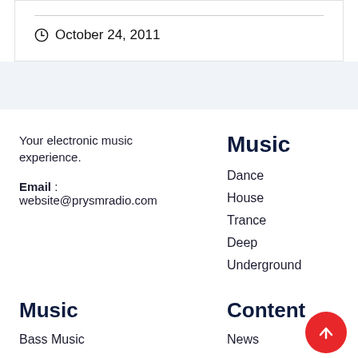October 24, 2011
Your electronic music experience.
Email : website@prysmradio.com
Music
Dance
House
Trance
Deep
Underground
Music
Content
Bass Music
News